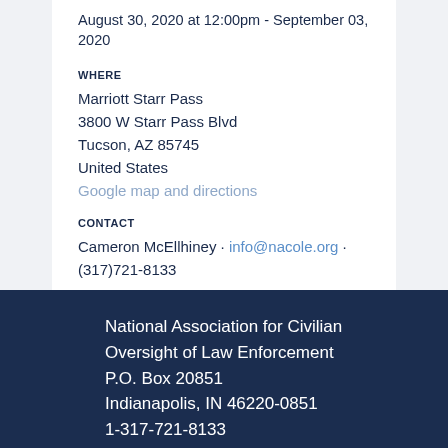August 30, 2020 at 12:00pm - September 03, 2020
WHERE
Marriott Starr Pass
3800 W Starr Pass Blvd
Tucson, AZ 85745
United States
Google map and directions
CONTACT
Cameron McEllhiney · info@nacole.org · (317)721-8133
National Association for Civilian Oversight of Law Enforcement
P.O. Box 20851
Indianapolis, IN 46220-0851
1-317-721-8133
Connect Us